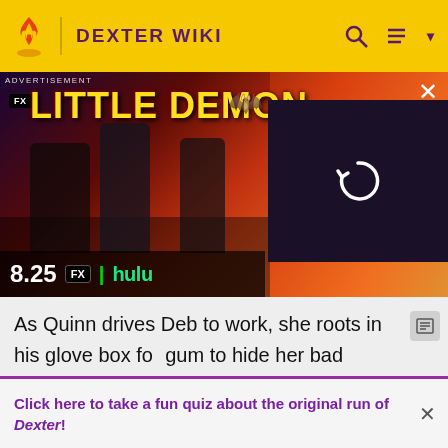DEXTER WIKI
[Figure (screenshot): Advertisement banner for 'Little Demon' animated show on FX/Hulu, showing animated characters fighting, with text '8.25 FX | hulu' and a video overlay on the right side.]
As Quinn drives Deb to work, she roots in his glove box for gum to hide her bad breath. Quinn offers to take her home so she can shower, but Deb says there's deodorant in her desk. When Quinn remarks that she might have a "problem," she reminds him of all the times he showed up to work in last night's clothes, smelling of booze. Quinn
Click here to take a fun quiz about the original run of Dexter!